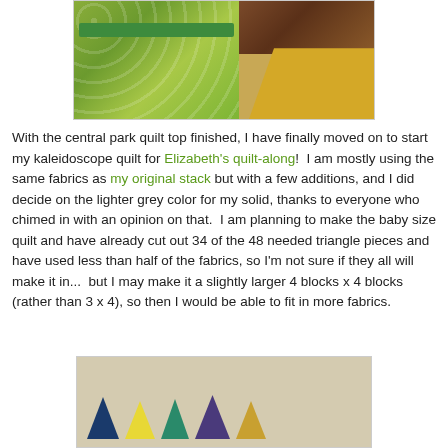[Figure (photo): Quilt fabrics including green swirl fabric, green polka dot border, and patterned brown/multicolor fabrics on right side]
With the central park quilt top finished, I have finally moved on to start my kaleidoscope quilt for Elizabeth's quilt-along!  I am mostly using the same fabrics as my original stack but with a few additions, and I did decide on the lighter grey color for my solid, thanks to everyone who chimed in with an opinion on that.  I am planning to make the baby size quilt and have already cut out 34 of the 48 needed triangle pieces and have used less than half of the fabrics, so I'm not sure if they all will make it in...  but I may make it a slightly larger 4 blocks x 4 blocks (rather than 3 x 4), so then I would be able to fit in more fabrics.
[Figure (photo): Kaleidoscope quilt blocks laid out on white background showing triangle pieces in teal, yellow-green, navy, and brown fabrics]